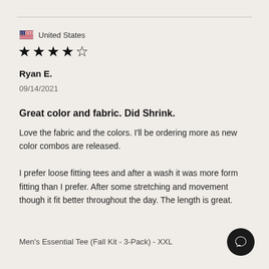United States
★★★★☆
Ryan E.
09/14/2021
Great color and fabric. Did Shrink.
Love the fabric and the colors. I'll be ordering more as new color combos are released.

I prefer loose fitting tees and after a wash it was more form fitting than I prefer. After some stretching and movement though it fit better throughout the day. The length is great.
Men's Essential Tee (Fall Kit - 3-Pack) - XXL